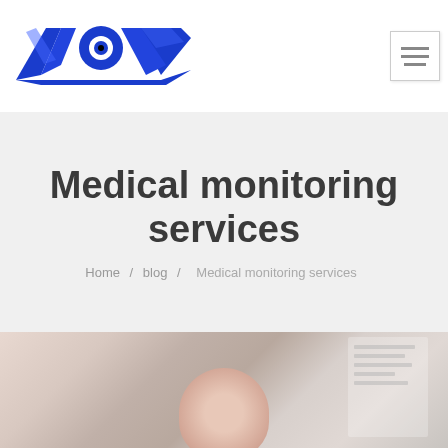[Figure (logo): Miami Security Systems logo — blue stylized 'AVS' letters with an eye graphic, and bold black text 'MIAMI SECURITY SYSTEMS' below]
Medical monitoring services
Home / blog / Medical monitoring services
[Figure (photo): Blurred photo of a hand/finger touching or holding a device, with a document/panel in the background]